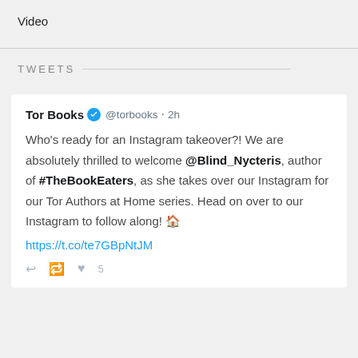Video
TWEETS
Tor Books @torbooks · 2h
Who's ready for an Instagram takeover?! We are absolutely thrilled to welcome @Blind_Nycteris, author of #TheBookEaters, as she takes over our Instagram for our Tor Authors at Home series. Head on over to our Instagram to follow along! 🏠
https://t.co/te7GBpNtJM